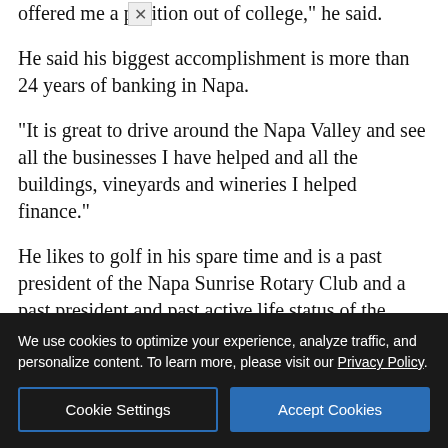offered me a position out of college,” he said.
He said his biggest accomplishment is more than 24 years of banking in Napa.
“It is great to drive around the Napa Valley and see all the businesses I have helped and all the buildings, vineyards and wineries I helped finance.”
He likes to golf in his spare time and is a past president of the Napa Sunrise Rotary Club and a past president and past active life status of the Active 20/30 Club of Napa.
The 33
[Figure (screenshot): Advertisement for Unger Construction Co. with red banner 'Building in Northern California for 95 years', photo of a building, and company name/contact info.]
We use cookies to optimize your experience, analyze traffic, and personalize content. To learn more, please visit our Privacy Policy.
Cookie Settings
Accept Cookies